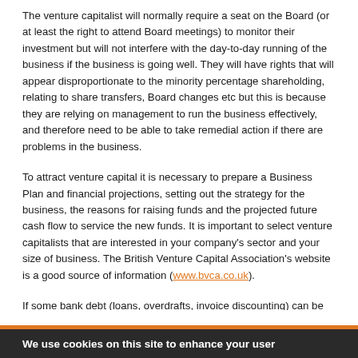The venture capitalist will normally require a seat on the Board (or at least the right to attend Board meetings) to monitor their investment but will not interfere with the day-to-day running of the business if the business is going well. They will have rights that will appear disproportionate to the minority percentage shareholding, relating to share transfers, Board changes etc but this is because they are relying on management to run the business effectively, and therefore need to be able to take remedial action if there are problems in the business.
To attract venture capital it is necessary to prepare a Business Plan and financial projections, setting out the strategy for the business, the reasons for raising funds and the projected future cash flow to service the new funds. It is important to select venture capitalists that are interested in your company's sector and your size of business. The British Venture Capital Association's website is a good source of information (www.bvca.co.uk).
If some bank debt (loans, overdrafts, invoice discounting) can be
We use cookies on this site to enhance your user